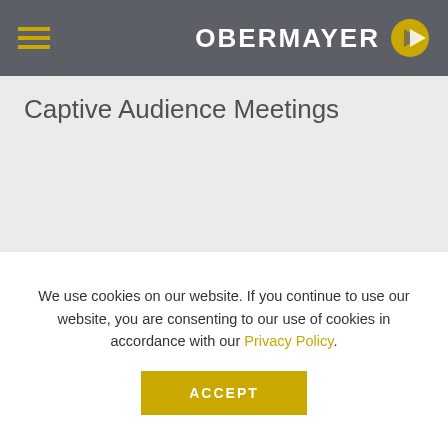OBERMAYER
Captive Audience Meetings
Stay Connected
Our email newsletters are full of industry insights, alerts and events.
We use cookies on our website. If you continue to use our website, you are consenting to our use of cookies in accordance with our Privacy Policy.
ACCEPT